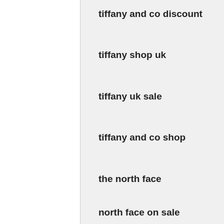tiffany and co discount
tiffany shop uk
tiffany uk sale
tiffany and co shop
the north face
north face on sale